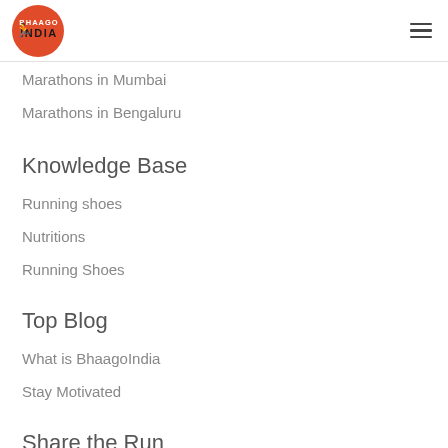Bhaago India
Marathons in Mumbai
Marathons in Bengaluru
Knowledge Base
Running shoes
Nutritions
Running Shoes
Top Blog
What is BhaagoIndia
Stay Motivated
Share the Run